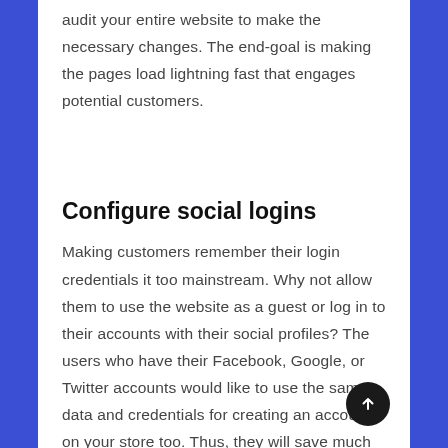audit your entire website to make the necessary changes. The end-goal is making the pages load lightning fast that engages potential customers.
Configure social logins
Making customers remember their login credentials it too mainstream. Why not allow them to use the website as a guest or log in to their accounts with their social profiles? The users who have their Facebook, Google, or Twitter accounts would like to use the same data and credentials for creating an account on your store too. Thus, they will save much of their time in